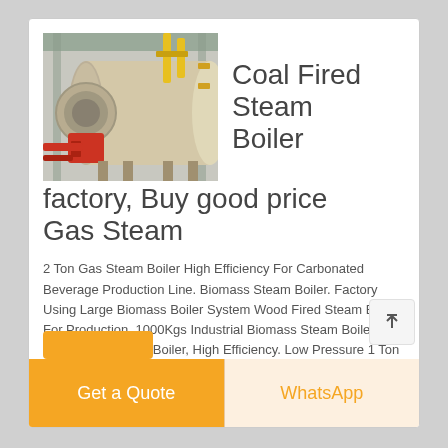[Figure (photo): Industrial coal fired steam boiler in a factory setting, large cylindrical white/tan boiler with yellow piping and metal framework]
Coal Fired Steam Boiler factory, Buy good price Gas Steam
2 Ton Gas Steam Boiler High Efficiency For Carbonated Beverage Production Line. Biomass Steam Boiler. Factory Using Large Biomass Boiler System Wood Fired Steam Boiler For Production. 1000Kgs Industrial Biomass Steam Boiler Used For Rice Mill Boiler, High Efficiency. Low Pressure 1 Ton Hr Biomass Fired Boilers Chain Grate Boiler For Poultry Houses
Get a Quote
WhatsApp